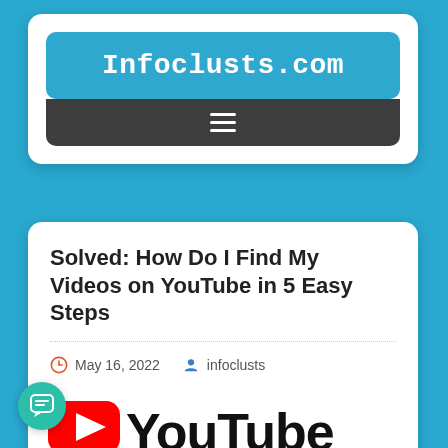Infoclusts.com
[Figure (screenshot): Dark gray navigation bar with white hamburger menu icon (three horizontal lines)]
Solved: How Do I Find My Videos on YouTube in 5 Easy Steps
May 16, 2022   infoclusts
[Figure (logo): YouTube logo: red play button icon followed by the word YouTube in black bold text, partially cropped at bottom of page]